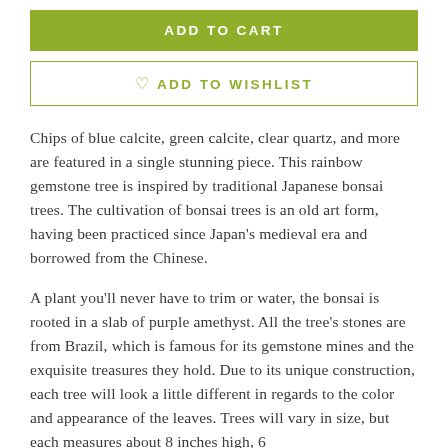ADD TO CART
♡ ADD TO WISHLIST
Chips of blue calcite, green calcite, clear quartz, and more are featured in a single stunning piece. This rainbow gemstone tree is inspired by traditional Japanese bonsai trees. The cultivation of bonsai trees is an old art form, having been practiced since Japan's medieval era and borrowed from the Chinese.
A plant you'll never have to trim or water, the bonsai is rooted in a slab of purple amethyst. All the tree's stones are from Brazil, which is famous for its gemstone mines and the exquisite treasures they hold. Due to its unique construction, each tree will look a little different in regards to the color and appearance of the leaves. Trees will vary in size, but each measures about 8 inches high, 6